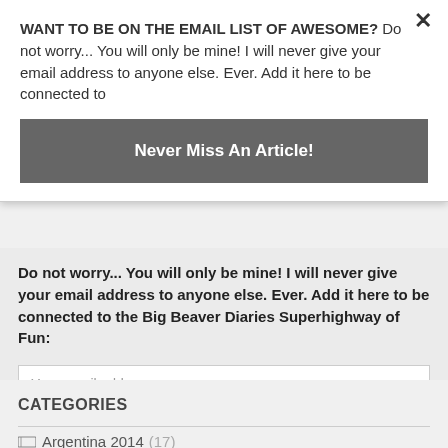WANT TO BE ON THE EMAIL LIST OF AWESOME? Do not worry... You will only be mine! I will never give your email address to anyone else. Ever. Add it here to be connected to
Never Miss An Article!
Do not worry... You will only be mine! I will never give your email address to anyone else. Ever. Add it here to be connected to the Big Beaver Diaries Superhighway of Fun:
Your email address
Ready...Aim...'Sign up!'
CATEGORIES
Argentina 2014 (17)